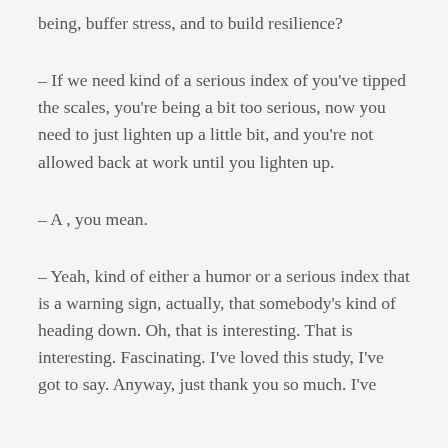being, buffer stress, and to build resilience?
– If we need kind of a serious index of you've tipped the scales, you're being a bit too serious, now you need to just lighten up a little bit, and you're not allowed back at work until you lighten up.
– A , you mean.
– Yeah, kind of either a humor or a serious index that is a warning sign, actually, that somebody's kind of heading down. Oh, that is interesting. That is interesting. Fascinating. I've loved this study, I've got to say. Anyway, just thank you so much. I've